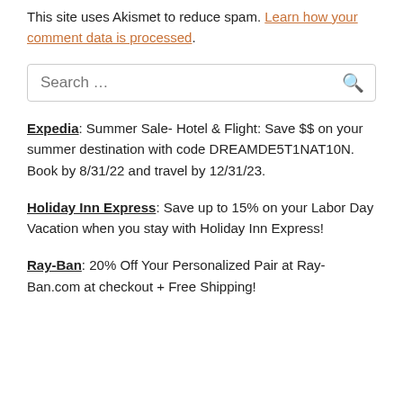This site uses Akismet to reduce spam. Learn how your comment data is processed.
Search …
Expedia: Summer Sale- Hotel & Flight: Save $$ on your summer destination with code DREAMDE5T1NAT10N. Book by 8/31/22 and travel by 12/31/23.
Holiday Inn Express: Save up to 15% on your Labor Day Vacation when you stay with Holiday Inn Express!
Ray-Ban: 20% Off Your Personalized Pair at Ray-Ban.com at checkout + Free Shipping!